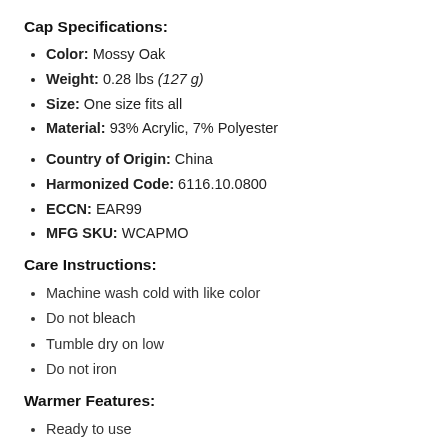Cap Specifications:
Color: Mossy Oak
Weight: 0.28 lbs (127 g)
Size: One size fits all
Material: 93% Acrylic, 7% Polyester
Country of Origin: China
Harmonized Code: 6116.10.0800
ECCN: EAR99
MFG SKU: WCAPMO
Care Instructions:
Machine wash cold with like color
Do not bleach
Tumble dry on low
Do not iron
Warmer Features:
Ready to use